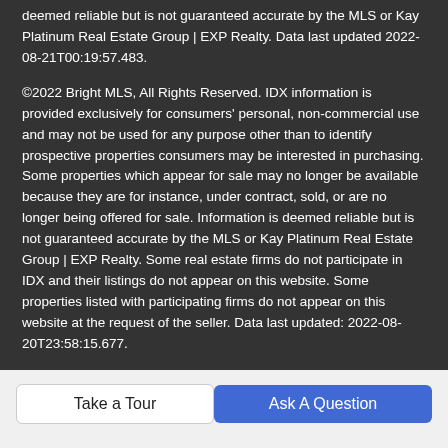deemed reliable but is not guaranteed accurate by the MLS or Kay Platinum Real Estate Group | EXP Realty. Data last updated 2022-08-21T00:19:57.483.
©2022 Bright MLS, All Rights Reserved. IDX information is provided exclusively for consumers' personal, non-commercial use and may not be used for any purpose other than to identify prospective properties consumers may be interested in purchasing. Some properties which appear for sale may no longer be available because they are for instance, under contract, sold, or are no longer being offered for sale. Information is deemed reliable but is not guaranteed accurate by the MLS or Kay Platinum Real Estate Group | EXP Realty. Some real estate firms do not participate in IDX and their listings do not appear on this website. Some properties listed with participating firms do not appear on this website at the request of the seller. Data last updated: 2022-08-20T23:58:15.677.